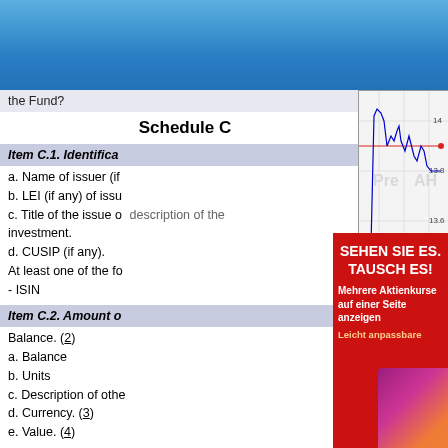[Figure (illustration): Blue gradient header banner at top of page]
the Fund?
Schedule C
Item C.1. Identification
a. Name of issuer (if
b. LEI (if any) of issu
c. Title of the issue or description of the investment.
d. CUSIP (if any).
At least one of the fo
- ISIN
[Figure (continuous-plot): Stock price intraday chart showing blue price line and red horizontal line. Y-axis shows values 13.6, 13.8, 14. X-axis shows times 1100, 1400, 1700, 2000, 2300. Pre and AH labels visible. Source: (c) www.advfn.com]
Item C.2. Amount o
Balance. (2)
a. Balance
b. Units
c. Description of othe
d. Currency. (3)
e. Value. (4)
[Figure (illustration): Red advertisement overlay with German text: SEHEN SIE ES. TAUSCH ES! Mehrere Aktienkurse auf einer Seite anzeigen. Leicht anpassbare...]